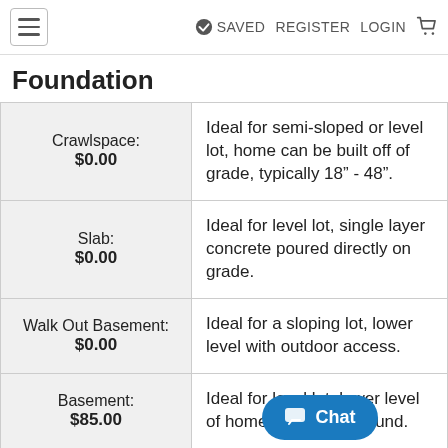SAVED  REGISTER  LOGIN
Foundation
| Option | Description |
| --- | --- |
| Crawlspace: $0.00 | Ideal for semi-sloped or level lot, home can be built off of grade, typically 18" - 48". |
| Slab: $0.00 | Ideal for level lot, single layer concrete poured directly on grade. |
| Walk Out Basement: $0.00 | Ideal for a sloping lot, lower level with outdoor access. |
| Basement: $85.00 | Ideal for level lot, lower level of home partially d...rground. |